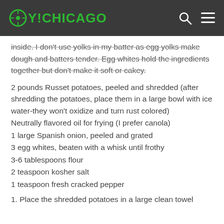OY!CHICAGO
inside. I don't use yolks in my batter as egg yolks make dough and batters tender. Egg whites hold the ingredients together but don't make it soft or cakey.
2 pounds Russet potatoes, peeled and shredded (after shredding the potatoes, place them in a large bowl with ice water-they won't oxidize and turn rust colored)
Neutrally flavored oil for frying (I prefer canola)
1 large Spanish onion, peeled and grated
3 egg whites, beaten with a whisk until frothy
3-6 tablespoons flour
2 teaspoon kosher salt
1 teaspoon fresh cracked pepper
1. Place the shredded potatoes in a large clean towel